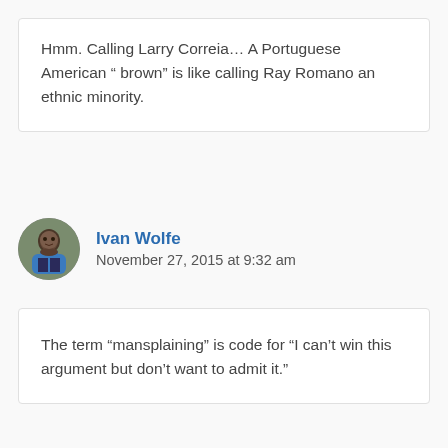Hmm. Calling Larry Correia... A Portuguese American “ brown” is like calling Ray Romano an ethnic minority.
[Figure (photo): Circular avatar photo of Ivan Wolfe, a person outdoors wearing a blue shirt]
Ivan Wolfe
November 27, 2015 at 9:32 am
The term “mansplaining” is code for “I can’t win this argument but don’t want to admit it.”